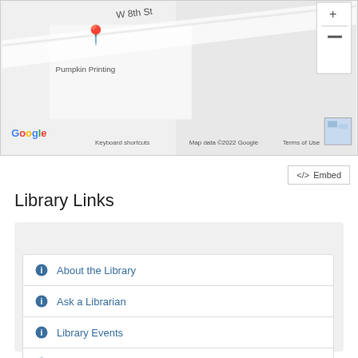[Figure (map): Google Maps embed showing location pin at Pumpkin Printing near W 8th St. Includes Google logo, keyboard shortcuts, map data ©2022 Google, Terms of Use footer, and zoom controls.]
<> Embed
Library Links
About the Library
Ask a Librarian
Library Events
Contact Us